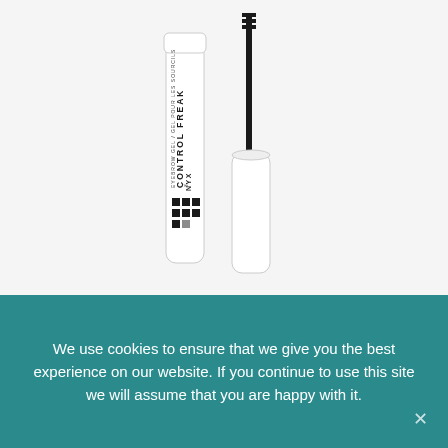[Figure (photo): NYX Control Freak Eyebrow Gel product photo showing two white cylindrical containers — a tube with cap on and cap off with wand applicator visible — on white background. The tube label reads 'NYX CONTROL FREAK™ EYEBROW GEL / GEL POUR LES SOURCILS' with the NYX logo grid squares.]
We use cookies to ensure that we give you the best experience on our website. If you continue to use this site we will assume that you are happy with it.